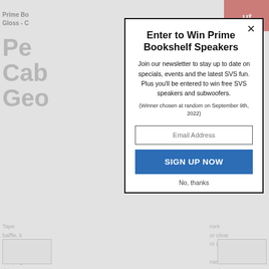[Figure (screenshot): Background webpage showing SVS speaker product page, partially obscured by a modal popup. The background shows navigation bar, product title fragments ('Prime Bo... Gloss - C...', 'Per... Cab... Geo...'), and body text about speaker features. A pink/red button area is visible top right.]
[Figure (screenshot): Modal popup dialog with close button (×). Title: 'Enter to Win Prime Bookshelf Speakers'. Body text: 'Join our newsletter to stay up to date on specials, events and the latest SVS fun. Plus you'll be entered to win free SVS speakers and subwoofers.' Winner note: '(Winner chosen at random on September 9th, 2022)'. Email Address input field. Blue 'SIGN UP NOW' button. 'No, thanks' link at bottom.]